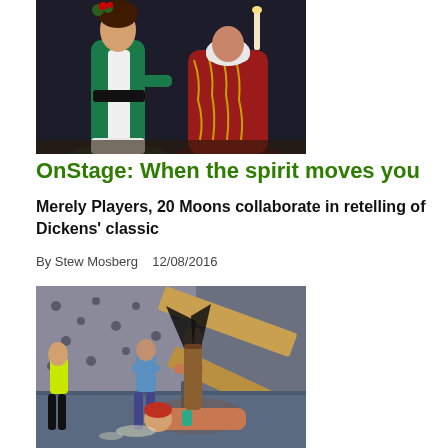[Figure (photo): Two actors on stage in costume — one in a teal/green velvet robe with white fur trim and a black belt, the other in a red embroidered robe with a white head covering, in a darkened theater setting.]
OnStage: When the spirit moves you
Merely Players, 20 Moons collaborate in retelling of Dickens' classic
By Stew Mosberg   12/08/2016
[Figure (photo): Theater rehearsal or performance scene with multiple actors on stage — one person lying down with hands extended upward holding objects, others standing in the background in a large open stage space with wooden set pieces.]